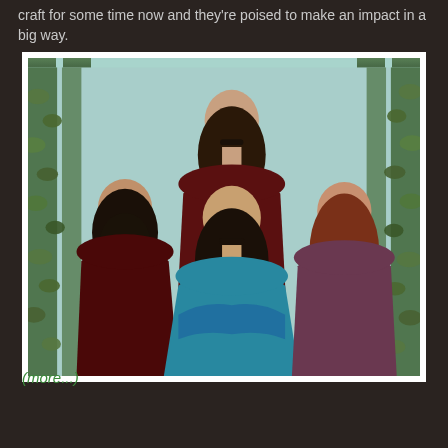craft for some time now and they're poised to make an impact in a big way.
[Figure (photo): Four long-haired musicians posing in front of a wall covered in ivy. One man stands in the back wearing a dark red velvet jacket. In the front, from left to right: a bearded man in a dark red patterned jacket, a man with a mustache wearing a teal/blue jacket with arms crossed, and a man with long red hair wearing a purple jacket. The background is a light teal wall with vines.]
(more...)